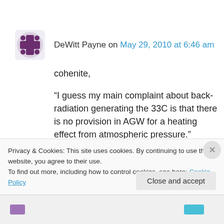DeWitt Payne on May 29, 2010 at 6:46 am
cohenite,
“I guess my main complaint about back-radiation generating the 33C is that there is no provision in AGW for a heating effect from atmospheric pressure.”
Atmospheric pressure does not cause heating.
Suppose you had the perfect ideal gas that
Privacy & Cookies: This site uses cookies. By continuing to use this website, you agree to their use.
To find out more, including how to control cookies, see here: Cookie Policy